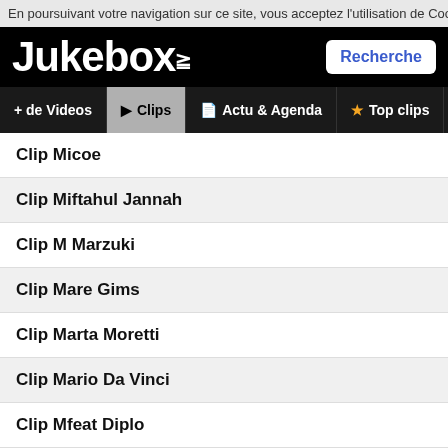En poursuivant votre navigation sur ce site, vous acceptez l'utilisation de Cookies po
[Figure (logo): Jukebox.fr logo in white on black background with Recherche button]
+ de Videos
Clips
Actu & Agenda
Top clips
Playlist
Clip Micoe
Clip Miftahul Jannah
Clip M Marzuki
Clip Mare Gims
Clip Marta Moretti
Clip Mario Da Vinci
Clip Mfeat Diplo
Clip Mik Izif
Clip Mc Kapela
Clip Mistinguett, Reine Des Années Folles